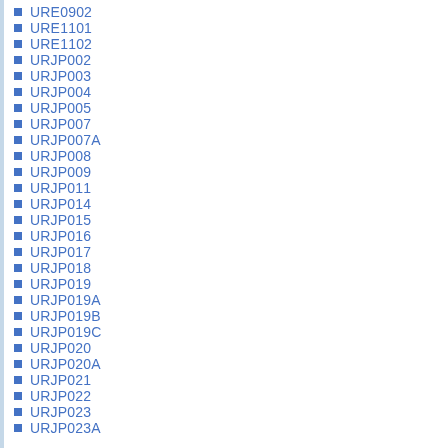URE0902
URE1101
URE1102
URJP002
URJP003
URJP004
URJP005
URJP007
URJP007A
URJP008
URJP009
URJP011
URJP014
URJP015
URJP016
URJP017
URJP018
URJP019
URJP019A
URJP019B
URJP019C
URJP020
URJP020A
URJP021
URJP022
URJP023
URJP023A